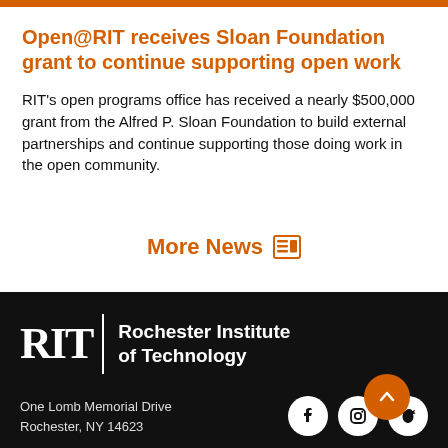Open@RIT receives Sloan Foundation grant to continue supporting open work
RIT's open programs office has received a nearly $500,000 grant from the Alfred P. Sloan Foundation to build external partnerships and continue supporting those doing work in the open community.
More News
RIT | Rochester Institute of Technology
One Lomb Memorial Drive
Rochester, NY 14623